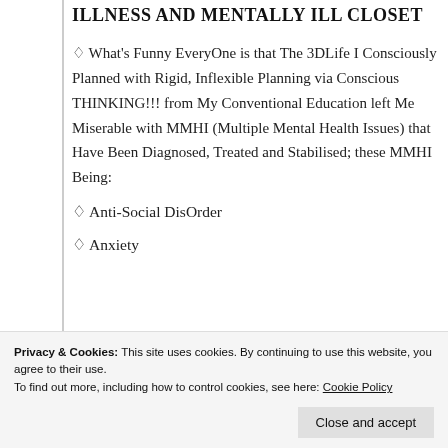ILLNESS AND MENTALLY ILL CLOSET
♢ What's Funny EveryOne is that The 3DLife I Consciously Planned with Rigid, Inflexible Planning via Conscious THINKING!!! from My Conventional Education left Me Miserable with MMHI (Multiple Mental Health Issues) that Have Been Diagnosed, Treated and Stabilised; these MMHI Being:
♢ Anti-Social DisOrder
♢ Anxiety
♢ Delusion
Privacy & Cookies: This site uses cookies. By continuing to use this website, you agree to their use. To find out more, including how to control cookies, see here: Cookie Policy
Close and accept